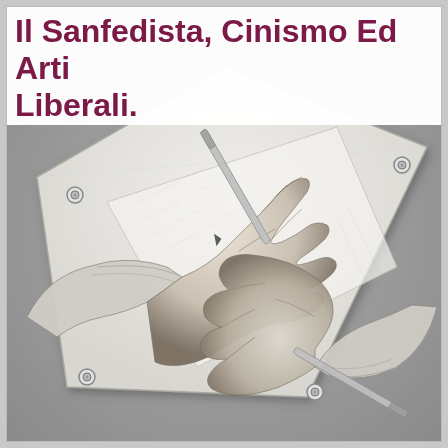[Figure (illustration): M.C. Escher's 'Drawing Hands' lithograph — two hands emerging from a flat sheet of paper, each drawing the other's cuff, rendered in detailed pencil/lithograph style with grayscale shading. The paper sheet is pinned at the corners to a gray textured background.]
Il Sanfedista, Cinismo Ed Arti Liberali.